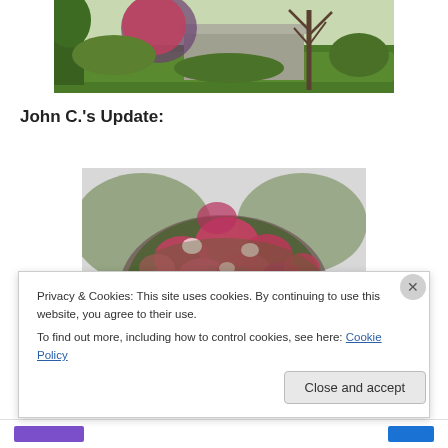[Figure (photo): Garden scene with flowering plant, trees, and a concrete structure in the background]
John C.'s Update:
[Figure (photo): Large flowering bush/shrub covered with red flowers, with hills and trees in the background]
Privacy & Cookies: This site uses cookies. By continuing to use this website, you agree to their use.
To find out more, including how to control cookies, see here: Cookie Policy
Close and accept